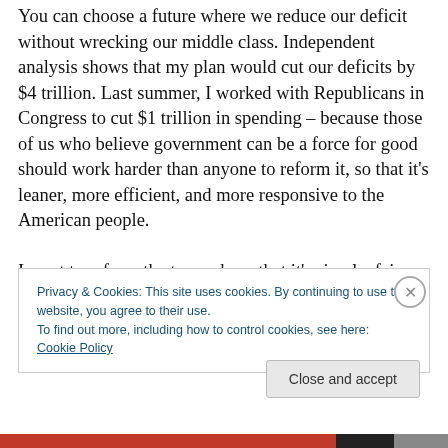You can choose a future where we reduce our deficit without wrecking our middle class. Independent analysis shows that my plan would cut our deficits by $4 trillion. Last summer, I worked with Republicans in Congress to cut $1 trillion in spending – because those of us who believe government can be a force for good should work harder than anyone to reform it, so that it's leaner, more efficient, and more responsive to the American people.

I want to reform the tax code so that it's simple, fair, and asks the wealthiest households to pay higher taxes on incomes over $250,000 – the same rate we had when Bill
Privacy & Cookies: This site uses cookies. By continuing to use this website, you agree to their use.
To find out more, including how to control cookies, see here: Cookie Policy
Close and accept